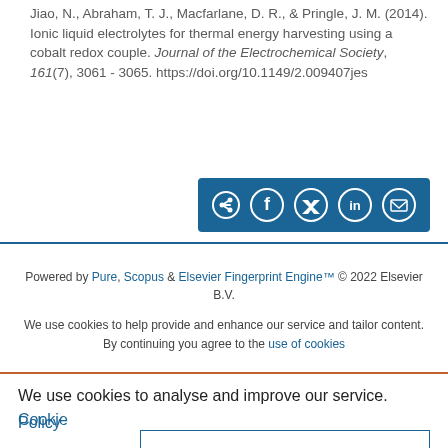Jiao, N., Abraham, T. J., Macfarlane, D. R., & Pringle, J. M. (2014). Ionic liquid electrolytes for thermal energy harvesting using a cobalt redox couple. Journal of the Electrochemical Society, 161(7), 3061 - 3065. https://doi.org/10.1149/2.009407jes
[Figure (other): Social share button bar with icons for share, Facebook, Twitter, LinkedIn, and email on a blue background]
Powered by Pure, Scopus & Elsevier Fingerprint Engine™ © 2022 Elsevier B.V.
We use cookies to help provide and enhance our service and tailor content. By continuing you agree to the use of cookies
We use cookies to analyse and improve our service. Cookie Policy